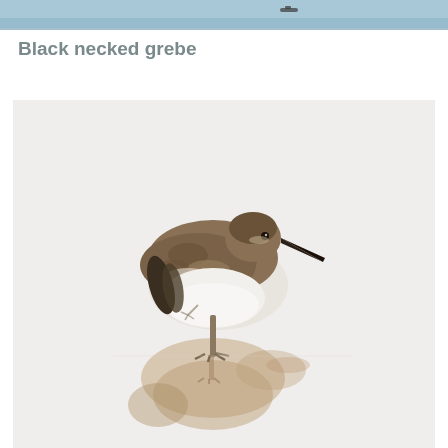[Figure (photo): Top portion of a photo showing a bird in water with a blurred background, partially cropped at the top of the page.]
Black necked grebe
[Figure (photo): A small sandpiper-type shorebird standing on one leg on a reflective surface (water), with its mirror reflection visible below. The bird has brown and white mottled plumage, a pointed bill, and is set against a pale grey/white background.]